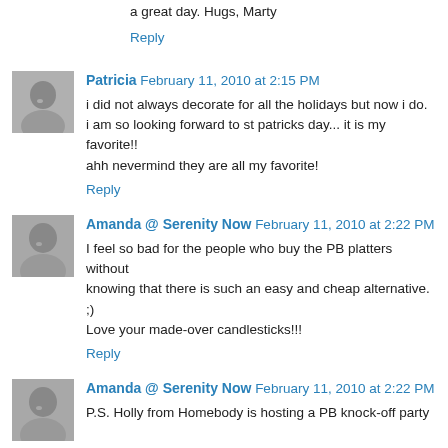a great day. Hugs, Marty
Reply
Patricia  February 11, 2010 at 2:15 PM
i did not always decorate for all the holidays but now i do. i am so looking forward to st patricks day... it is my favorite!! ahh nevermind they are all my favorite!
Reply
Amanda @ Serenity Now  February 11, 2010 at 2:22 PM
I feel so bad for the people who buy the PB platters without knowing that there is such an easy and cheap alternative. ;) Love your made-over candlesticks!!!
Reply
Amanda @ Serenity Now  February 11, 2010 at 2:22 PM
P.S. Holly from Homebody is hosting a PB knock-off party